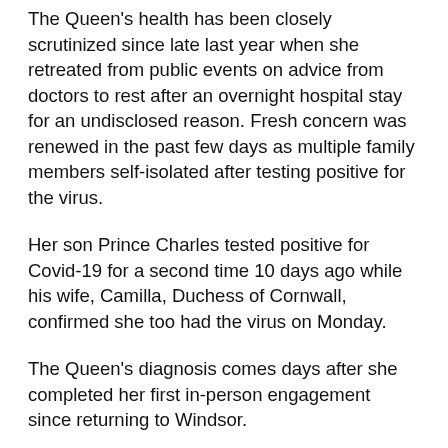The Queen's health has been closely scrutinized since late last year when she retreated from public events on advice from doctors to rest after an overnight hospital stay for an undisclosed reason. Fresh concern was renewed in the past few days as multiple family members self-isolated after testing positive for the virus.
Her son Prince Charles tested positive for Covid-19 for a second time 10 days ago while his wife, Camilla, Duchess of Cornwall, confirmed she too had the virus on Monday.
The Queen's diagnosis comes days after she completed her first in-person engagement since returning to Windsor.